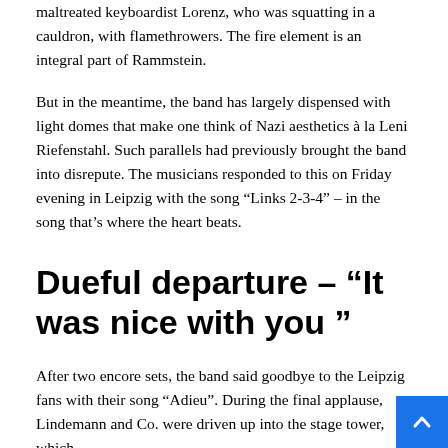maltreated keyboardist Lorenz, who was squatting in a cauldron, with flamethrowers. The fire element is an integral part of Rammstein.
But in the meantime, the band has largely dispensed with light domes that make one think of Nazi aesthetics à la Leni Riefenstahl. Such parallels had previously brought the band into disrepute. The musicians responded to this on Friday evening in Leipzig with the song “Links 2-3-4” – in the song that’s where the heart beats.
Dueful departure – “It was nice with you ”
After two encore sets, the band said goodbye to the Leipzig fans with their song “Adieu”. During the final applause, Lindemann and Co. were driven up into the stage tower, which